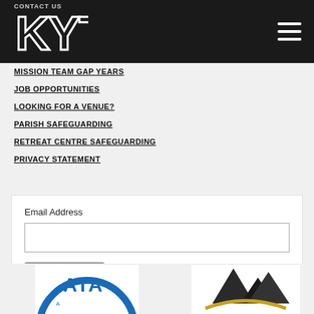CONTACT US
[Figure (logo): KYT logo white block letters on dark background]
MISSION TEAM GAP YEARS
JOB OPPORTUNITIES
LOOKING FOR A VENUE?
PARISH SAFEGUARDING
RETREAT CENTRE SAFEGUARDING
PRIVACY STATEMENT
Email Address
[Figure (logo): AIA circular badge logo, partial view at bottom left]
[Figure (logo): Mountain/peaks logo, dark triangular mountains with golden arc, partial view at bottom right]